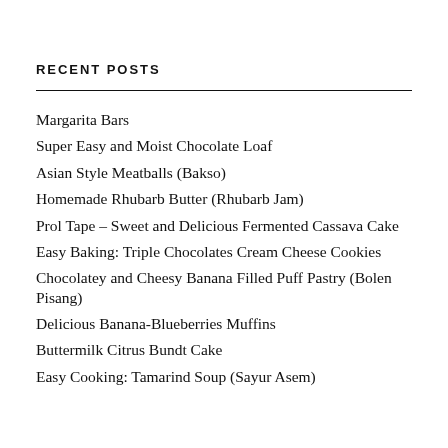RECENT POSTS
Margarita Bars
Super Easy and Moist Chocolate Loaf
Asian Style Meatballs (Bakso)
Homemade Rhubarb Butter (Rhubarb Jam)
Prol Tape – Sweet and Delicious Fermented Cassava Cake
Easy Baking: Triple Chocolates Cream Cheese Cookies
Chocolatey and Cheesy Banana Filled Puff Pastry (Bolen Pisang)
Delicious Banana-Blueberries Muffins
Buttermilk Citrus Bundt Cake
Easy Cooking: Tamarind Soup (Sayur Asem)